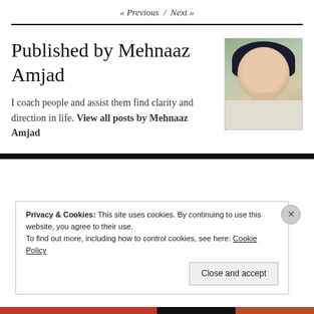« Previous / Next »
Published by Mehnaaz Amjad
[Figure (photo): Portrait photo of Mehnaaz Amjad, a young woman with dark hair against a green background]
I coach people and assist them find clarity and direction in life. View all posts by Mehnaaz Amjad
Privacy & Cookies: This site uses cookies. By continuing to use this website, you agree to their use. To find out more, including how to control cookies, see here: Cookie Policy
Close and accept